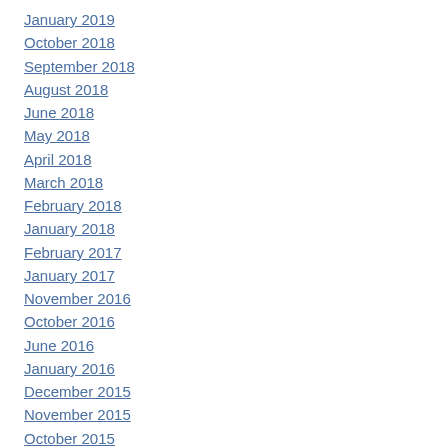January 2019
October 2018
September 2018
August 2018
June 2018
May 2018
April 2018
March 2018
February 2018
January 2018
February 2017
January 2017
November 2016
October 2016
June 2016
January 2016
December 2015
November 2015
October 2015